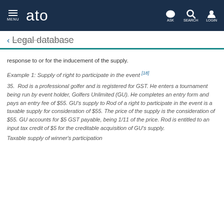MENU  ato  ASK  SEARCH  LOGIN
← Legal database
response to or for the inducement of the supply.
Example 1: Supply of right to participate in the event [18]
35.  Rod is a professional golfer and is registered for GST. He enters a tournament being run by event holder, Golfers Unlimited (GU). He completes an entry form and pays an entry fee of $55. GU's supply to Rod of a right to participate in the event is a taxable supply for consideration of $55. The price of the supply is the consideration of $55. GU accounts for $5 GST payable, being 1/11 of the price. Rod is entitled to an input tax credit of $5 for the creditable acquisition of GU's supply.
Taxable supply of winner's participation